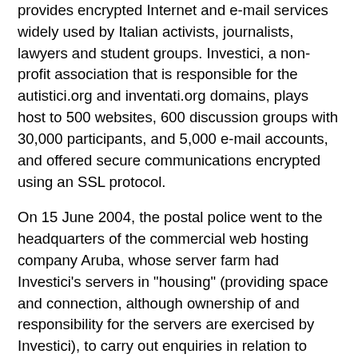provides encrypted Internet and e-mail services widely used by Italian activists, journalists, lawyers and student groups. Investici, a non-profit association that is responsible for the autistici.org and inventati.org domains, plays host to 500 websites, 600 discussion groups with 30,000 participants, and 5,000 e-mail accounts, and offered secure communications encrypted using an SSL protocol.
On 15 June 2004, the postal police went to the headquarters of the commercial web hosting company Aruba, whose server farm had Investici's servers in "housing" (providing space and connection, although ownership of and responsibility for the servers are exercised by Investici), to carry out enquiries in relation to specific e-mail accounts, demanding access to the computer belonging to Investici, which held the entire contents of the two domains that it runs. The investigation related to the e-mail account of the group Crocenera anarchica (Anarchist Black Cross, an anarchist collective), and Aruba allowed the police access to the computer, unplugging the server and allowing them to copy its contents and encryption keys, thus rendering